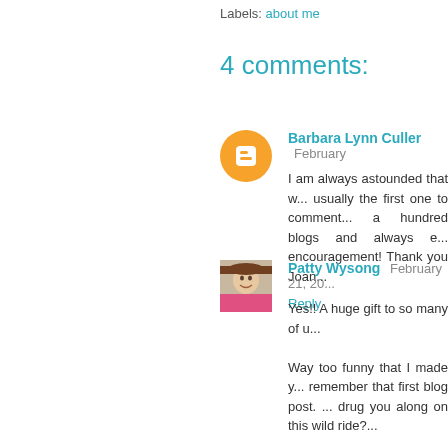Labels: about me
4 comments:
Barbara Lynn Culler  February  I am always astounded that w... usually the first one to comment... a hundred blogs and always e... encouragement! Thank you Joan...
Reply
Patty Wysong  February 21, 20...  Yes!! A huge gift to so many of u...  Way too funny that I made y... remember that first blog post. ... drug you along on this wild ride?...  hehe.
Reply